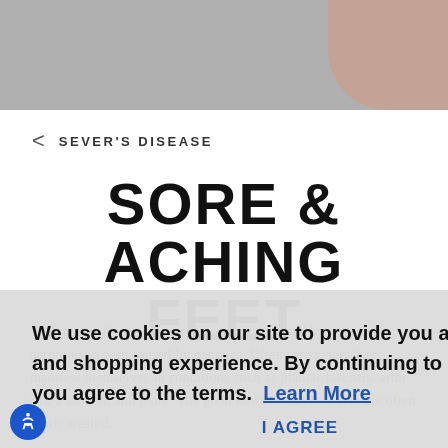[Figure (photo): Gray hero banner with a finger/hand visible in the top-right corner]
< SEVER'S DISEASE
SORE & ACHING FEET
The causes of sore feet range from pain caused by physical activities to pain caused by genetics. Often times, sore feet manifest themselves in conditions such as plantar fasciitis, arthritis, a bunion, and more. The good news is that sore feet are often easily treated.
We use cookies on our site to provide you a better web and shopping experience. By continuing to use our site you agree to the terms. Learn More
I AGREE